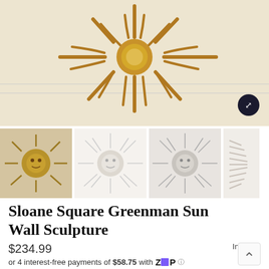[Figure (photo): Large product image of a bronze/gold sunburst wall sculpture mounted on a cream/beige wall, showing radiating metallic rays in a starburst pattern, viewed from below]
[Figure (photo): Thumbnail 1: Sun face wall sculpture with detailed face in center, gold/bronze tones]
[Figure (photo): Thumbnail 2: Sun face wall sculpture in lighter/silver tone on white background]
[Figure (photo): Thumbnail 3: Sun face wall sculpture in grey/silver tone]
[Figure (photo): Thumbnail 4: Partial view of the wall sculpture from the side]
Sloane Square Greenman Sun Wall Sculpture
$234.99
In Stock
or 4 interest-free payments of $58.75 with Zip